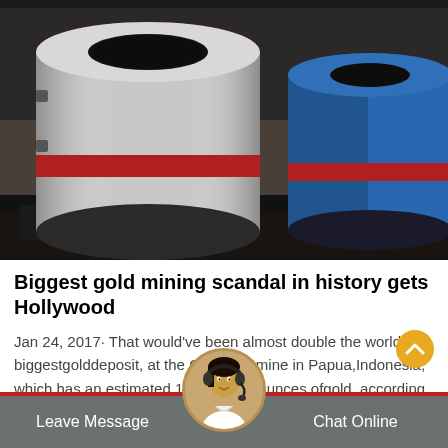[Figure (photo): Industrial ball mill machinery with large cylindrical drums — one silver/white, one blue — arranged horizontally in a warehouse or factory setting. Red banding visible on the drums.]
Biggest gold mining scandal in history gets Hollywood
Jan 24, 2017· That would've been almost double the world's biggestgolddeposit, at the Grasberg mine in Papua,Indonesia, which has an estimated 106.2 ounces ofgold, according toMining.com
Leave Message  Chat Online